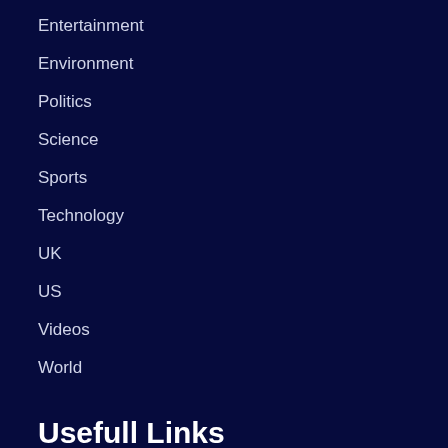Entertainment
Environment
Politics
Science
Sports
Technology
UK
US
Videos
World
Usefull Links